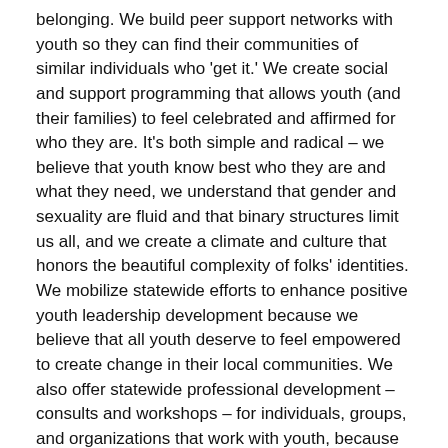belonging. We build peer support networks with youth so they can find their communities of similar individuals who 'get it.' We create social and support programming that allows youth (and their families) to feel celebrated and affirmed for who they are. It's both simple and radical – we believe that youth know best who they are and what they need, we understand that gender and sexuality are fluid and that binary structures limit us all, and we create a climate and culture that honors the beautiful complexity of folks' identities. We mobilize statewide efforts to enhance positive youth leadership development because we believe that all youth deserve to feel empowered to create change in their local communities. We also offer statewide professional development – consults and workshops – for individuals, groups, and organizations that work with youth, because we understand that to build safe, healthy, and supportive environments for queer, trans, and questioning youth, we must also improve the systems with which youth interact.
ParentIN: What can parents and caregivers of LGB identifying youth do to reduce risk taking behavior?
Dana Kaplan: The simplest – and not always easy – answer here is to be accepting and supportive of your youth. Practice listening for the sake of truly understanding. Use their current name and